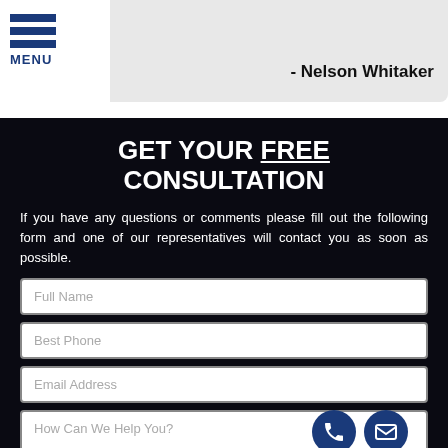MENU | - Nelson Whitaker
GET YOUR FREE CONSULTATION
If you have any questions or comments please fill out the following form and one of our representatives will contact you as soon as possible.
[Figure (screenshot): Contact form with fields: Full Name, Best Phone, Email Address, How Can We Help You?, and two circular icon buttons (phone and email)]